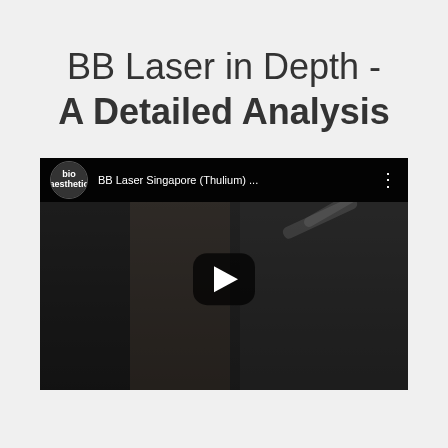BB Laser in Depth - A Detailed Analysis
[Figure (screenshot): YouTube video thumbnail showing 'BB Laser Singapore (Thulium) ...' from bio aesthetic channel. Dark scene with a medical professional performing a laser treatment procedure. Play button visible in center.]